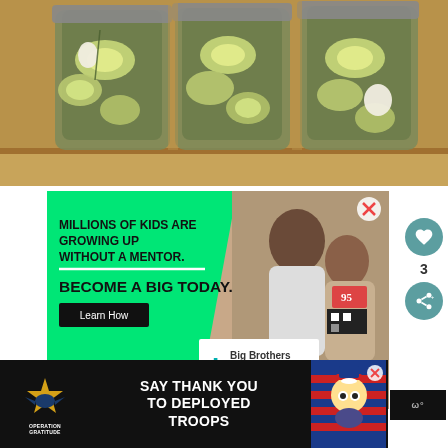[Figure (photo): Close-up photo of three glass mason jars filled with pickled cucumber slices, dill, and garlic cloves on a wooden shelf]
[Figure (other): Big Brothers Big Sisters of America advertisement with green background showing 'MILLIONS OF KIDS ARE GROWING UP WITHOUT A MENTOR. BECOME A BIG TODAY.' with a Learn How button and BBBS logo, and a photo of an adult mentoring a child]
[Figure (other): Operation Gratitude bottom banner advertisement reading 'SAY THANK YOU TO DEPLOYED TROOPS' with patriotic imagery and mascot]